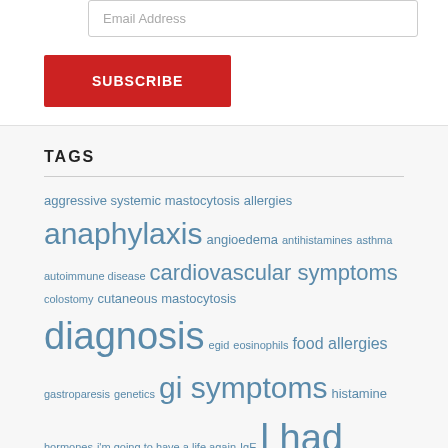Email Address
SUBSCRIBE
TAGS
aggressive systemic mastocytosis allergies anaphylaxis angioedema antihistamines asthma autoimmune disease cardiovascular symptoms colostomy cutaneous mastocytosis diagnosis egid eosinophils food allergies gastroparesis genetics gi symptoms histamine hormones i'm going to have a life again IgE l had this life once i have a life again indolent